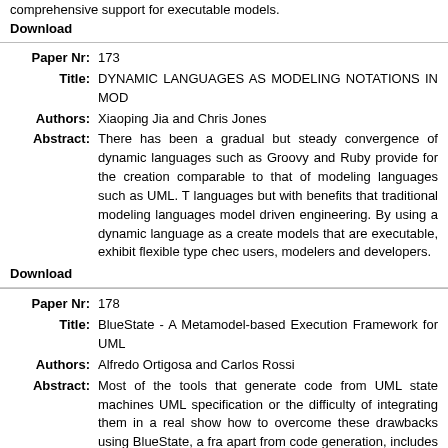comprehensive support for executable models.
Download
Paper Nr: 173
Title: DYNAMIC LANGUAGES AS MODELING NOTATIONS IN MOD
Authors: Xiaoping Jia and Chris Jones
Abstract: There has been a gradual but steady convergence of dynamic languages such as Groovy and Ruby provide for the creation comparable to that of modeling languages such as UML. T languages but with benefits that traditional modeling languages model driven engineering. By using a dynamic language as a create models that are executable, exhibit flexible type chec users, modelers and developers.
Download
Paper Nr: 178
Title: BlueState - A Metamodel-based Execution Framework for UML
Authors: Alfredo Ortigosa and Carlos Rossi
Abstract: Most of the tools that generate code from UML state machines UML specification or the difficulty of integrating them in a real show how to overcome these drawbacks using BlueState, a fra apart from code generation, includes debugging and real-time independent of the modeling tool and makes it possible to gene
Download